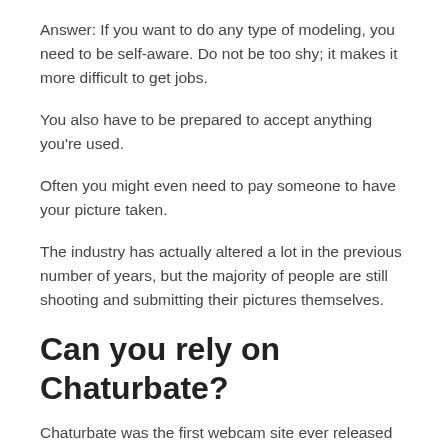Answer: If you want to do any type of modeling, you need to be self-aware. Do not be too shy; it makes it more difficult to get jobs.
You also have to be prepared to accept anything you're used.
Often you might even need to pay someone to have your picture taken.
The industry has actually altered a lot in the previous number of years, but the majority of people are still shooting and submitting their pictures themselves.
Can you rely on Chaturbate?
Chaturbate was the first webcam site ever released on the internet.
It began as a specific niche webcam site that focused only on erotic material, then slowly broadened to consist of mainstream